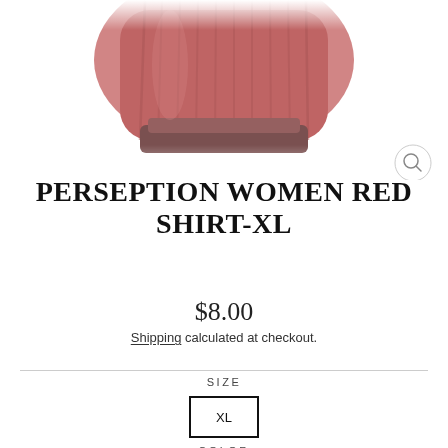[Figure (photo): Product photo of a women's red gathered/ruched shirt, cropped view showing the upper torso area against a white background]
PERSEPTION WOMEN RED SHIRT-XL
$8.00
Shipping calculated at checkout.
SIZE
XL
COLOR
Red